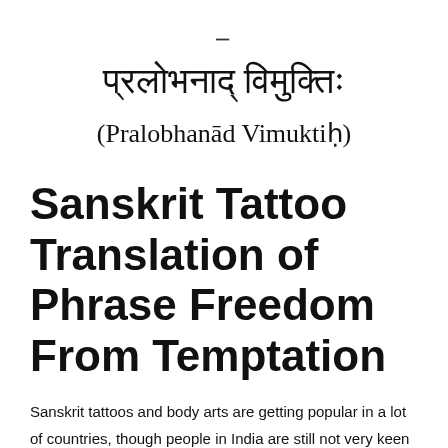=
प्रलोभनाद् विमुक्तिः
(Pralobhanād Vimuktiḥ)
Sanskrit Tattoo Translation of Phrase Freedom From Temptation
Sanskrit tattoos and body arts are getting popular in a lot of countries, though people in India are still not very keen on getting inked with a phrase in Sanskrit. I have got many yoga, mantra, and travel enthusiasts who want a phrase or a word translated in Sanskrit and tattooed on their body, some of